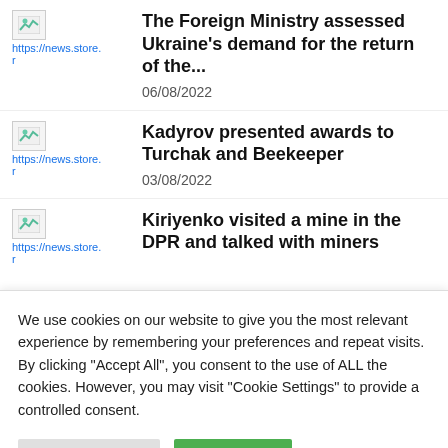The Foreign Ministry assessed Ukraine's demand for the return of the... 06/08/2022
Kadyrov presented awards to Turchak and Beekeeper 03/08/2022
Kiriyenko visited a mine in the DPR and talked with miners
We use cookies on our website to give you the most relevant experience by remembering your preferences and repeat visits. By clicking "Accept All", you consent to the use of ALL the cookies. However, you may visit "Cookie Settings" to provide a controlled consent.